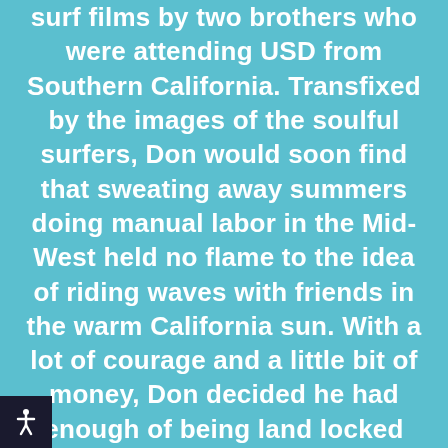surf films by two brothers who were attending USD from Southern California. Transfixed by the images of the soulful surfers, Don would soon find that sweating away summers doing manual labor in the Mid-West held no flame to the idea of riding waves with friends in the warm California sun. With a lot of courage and a little bit of money, Don decided he had enough of being land locked and bravely hitch hiked his way to Coronado, where he would indulge in the surf lifestyle and begin his journey into surfboard manufacturing.